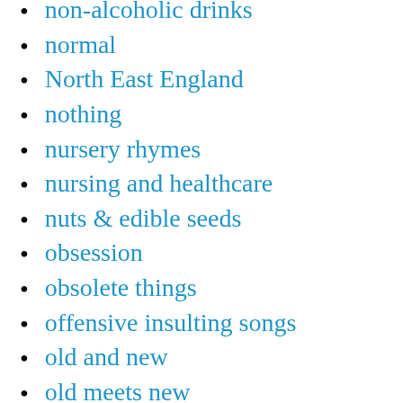non-alcoholic drinks
normal
North East England
nothing
nursery rhymes
nursing and healthcare
nuts & edible seeds
obsession
obsolete things
offensive insulting songs
old and new
old meets new
omens & prophecies
onomatopoeia
orange
outcasts & outsiders
outlaw and rebels